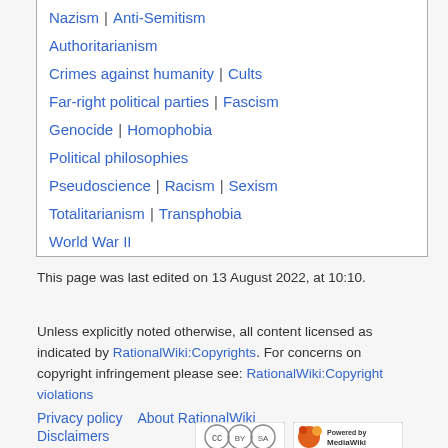Nazism | Anti-Semitism
Authoritarianism
Crimes against humanity | Cults
Far-right political parties | Fascism
Genocide | Homophobia
Political philosophies
Pseudoscience | Racism | Sexism
Totalitarianism | Transphobia
World War II
This page was last edited on 13 August 2022, at 10:10.
Unless explicitly noted otherwise, all content licensed as indicated by RationalWiki:Copyrights. For concerns on copyright infringement please see: RationalWiki:Copyright violations
Privacy policy    About RationalWiki
Disclaimers
[Figure (logo): Creative Commons BY-SA license badge]
[Figure (logo): Powered by MediaWiki badge]